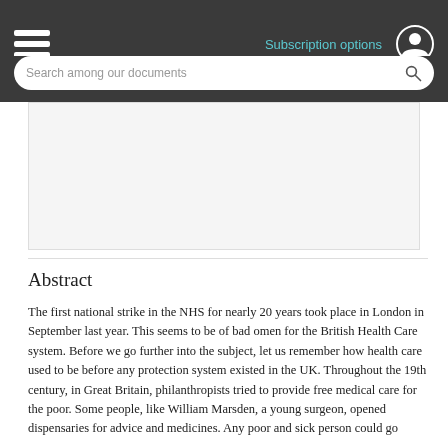Subscription options
Search among our documents
[Figure (other): Advertisement or image placeholder area]
Abstract
The first national strike in the NHS for nearly 20 years took place in London in September last year. This seems to be of bad omen for the British Health Care system. Before we go further into the subject, let us remember how health care used to be before any protection system existed in the UK. Throughout the 19th century, in Great Britain, philanthropists tried to provide free medical care for the poor. Some people, like William Marsden, a young surgeon, opened dispensaries for advice and medicines. Any poor and sick person could go